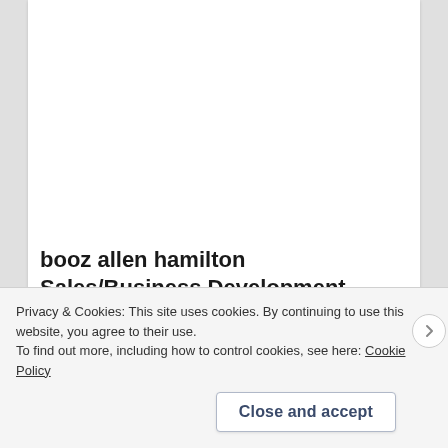booz allen hamilton Sales/Business Development Jobs in Ashburn Apply…
jobble.com
Privacy & Cookies: This site uses cookies. By continuing to use this website, you agree to their use.
To find out more, including how to control cookies, see here: Cookie Policy
Close and accept